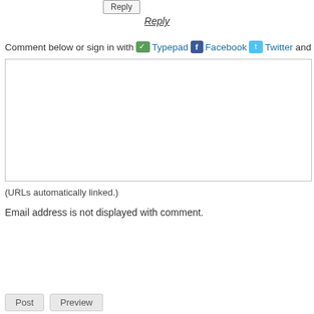[Figure (screenshot): Reply button (small box with text)]
Reply
Comment below or sign in with Typepad Facebook Twitter and mo
[Figure (screenshot): Comment text area box]
(URLs automatically linked.)
Email address is not displayed with comment.
[Figure (screenshot): Name input field]
[Figure (screenshot): Email Address input field]
[Figure (screenshot): Web Site URL input field]
[Figure (screenshot): Post and Preview buttons]